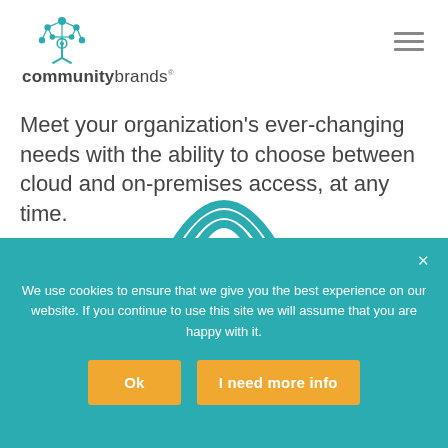[Figure (logo): Community Brands logo: teal network/molecule tree icon above the text 'communitybrands' with a registered trademark symbol]
Meet your organization's ever-changing needs with the ability to choose between cloud and on-premises access, at any time.
[Figure (illustration): Partial teal arc/circle graphic partially visible at bottom of white area]
We use cookies to ensure that we give you the best experience on our website. If you continue to use this site we will assume that you are happy with it.
Ok
I need more info